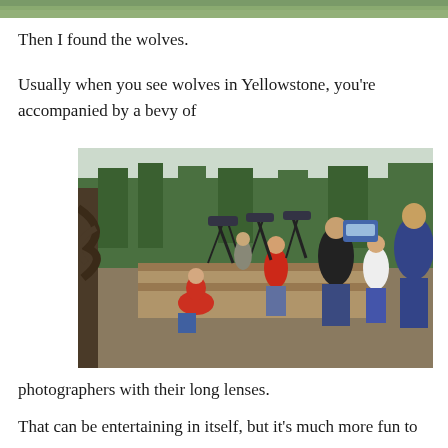[Figure (photo): Partial view of a colorful outdoor scene at the top of the page, cropped strip]
Then I found the wolves.
Usually when you see wolves in Yellowstone, you're accompanied by a bevy of
[Figure (photo): Group of people at Yellowstone, many with large telephoto camera lenses on tripods, looking in the same direction. People include a woman in a black jacket, a child in white, a man in a blue jacket, a person in red crouching, and others. Trees and sky visible in background.]
photographers with their long lenses.
That can be entertaining in itself, but it's much more fun to